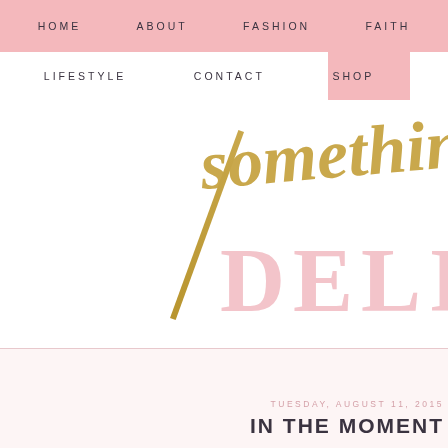HOME   ABOUT   FASHION   FAITH
LIFESTYLE   CONTACT   SHOP
[Figure (logo): Blog logo with cursive gold script reading 'something' over large pink serif text 'DELI' — partial view of 'Something Delightful' blog logo]
TUESDAY, AUGUST 11, 2015
IN THE MOMENT